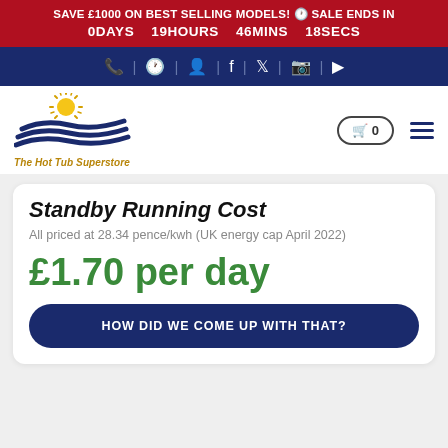SAVE £1000 ON BEST SELLING MODELS! 🕐 SALE ENDS IN 0DAYS 19HOURS 46MINS 18SECS
Navigation icons: phone, clock, account, facebook, twitter, instagram, youtube
[Figure (logo): The Hot Tub Superstore logo with sun and waves graphic and italic text]
Standby Running Cost
All priced at 28.34 pence/kwh (UK energy cap April 2022)
£1.70 per day
HOW DID WE COME UP WITH THAT?